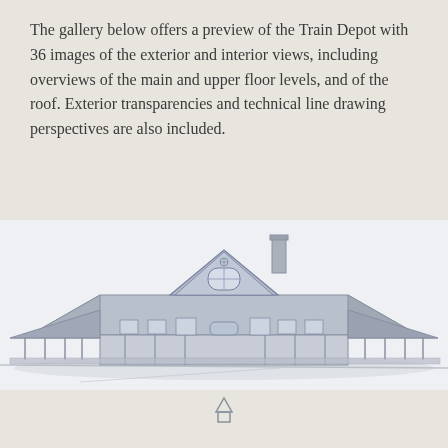The gallery below offers a preview of the Train Depot with 36 images of the exterior and interior views, including overviews of the main and upper floor levels, and of the roof. Exterior transparencies and technical line drawing perspectives are also included.
[Figure (engineering-diagram): Technical line drawing perspective of a Train Depot building exterior, showing a large structure with a wide overhanging roof, covered platform/canopy on sides, central gabled dormer, chimney, and support columns. Rendered in blue-grey tones on light background.]
[Figure (engineering-diagram): Partial view of another engineering diagram or building image at the bottom, partially cropped, light beige background.]